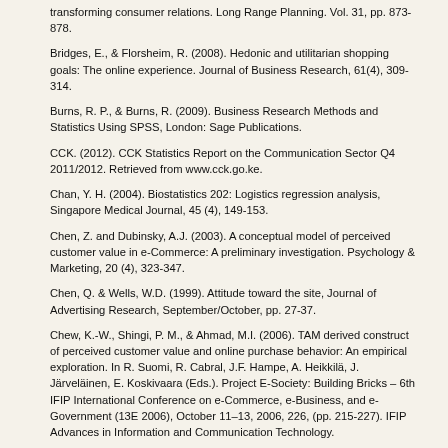transforming consumer relations. Long Range Planning. Vol. 31, pp. 873-878.
Bridges, E., & Florsheim, R. (2008). Hedonic and utilitarian shopping goals: The online experience. Journal of Business Research, 61(4), 309-314.
Burns, R. P., & Burns, R. (2009). Business Research Methods and Statistics Using SPSS, London: Sage Publications.
CCK. (2012). CCK Statistics Report on the Communication Sector Q4 2011/2012. Retrieved from www.cck.go.ke.
Chan, Y. H. (2004). Biostatistics 202: Logistics regression analysis, Singapore Medical Journal, 45 (4), 149-153.
Chen, Z. and Dubinsky, A.J. (2003). A conceptual model of perceived customer value in e-Commerce: A preliminary investigation. Psychology & Marketing, 20 (4), 323-347.
Chen, Q. & Wells, W.D. (1999). Attitude toward the site, Journal of Advertising Research, September/October, pp. 27-37.
Chew, K.-W., Shingi, P. M., & Ahmad, M.I. (2006). TAM derived construct of perceived customer value and online purchase behavior: An empirical exploration. In R. Suomi, R. Cabral, J.F. Hampe, A. Heikkilä, J. Järveläinen, E. Koskivaara (Eds.). Project E-Society: Building Bricks – 6th IFIP International Conference on e-Commerce, e-Business, and e-Government (13E 2006), October 11–13, 2006, 226, (pp. 215-227). IFIP Advances in Information and Communication Technology.